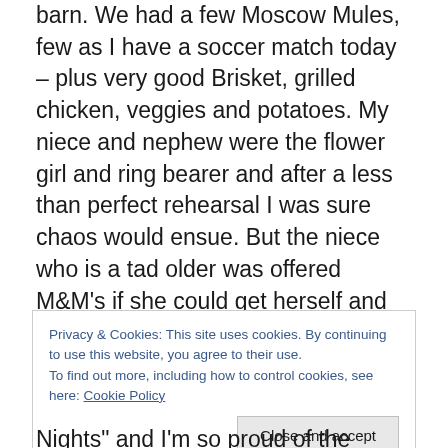barn. We had a few Moscow Mules, few as I have a soccer match today – plus very good Brisket, grilled chicken, veggies and potatoes. My niece and nephew were the flower girl and ring bearer and after a less than perfect rehearsal I was sure chaos would ensue. But the niece who is a tad older was offered M&M's if she could get herself and her brother to walk the aisle. Lesson – don't underestimate the power of M&M's – they did perfect. I lost a bet:) Let's talk about the great week we had and what lies ahead.
Privacy & Cookies: This site uses cookies. By continuing to use this website, you agree to their use. To find out more, including how to control cookies, see here: Cookie Policy
Close and accept
Nights" and I'm so proud of the endeavor. We're still